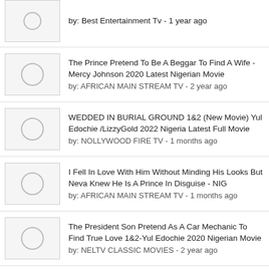by: Best Entertainment Tv - 1 year ago
The Prince Pretend To Be A Beggar To Find A Wife - Mercy Johnson 2020 Latest Nigerian Movie
by: AFRICAN MAIN STREAM TV - 2 year ago
WEDDED IN BURIAL GROUND 1&2 (New Movie) Yul Edochie /LizzyGold 2022 Nigeria Latest Full Movie
by: NOLLYWOOD FIRE TV - 1 months ago
I Fell In Love With Him Without Minding His Looks But Neva Knew He Is A Prince In Disguise - NIG
by: AFRICAN MAIN STREAM TV - 1 months ago
The President Son Pretend As A Car Mechanic To Find True Love 1&2-Yul Edochie 2020 Nigerian Movie
by: NELTV CLASSIC MOVIES - 2 year ago
Chizzy Alichi - D Governor's Daughter In Search Of Luv Pretend 2 B Sales Girl To Her Handsome Boss
by: Cobic Tv - 8 months ago
The Rich Princess Fall InLove Wit Poor CAR-WASH Boy But Didn't Know he Prince is a PRINCE looking th...